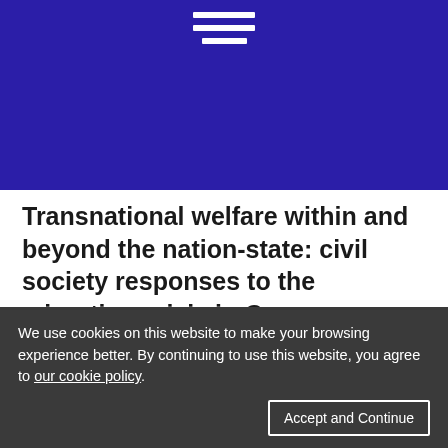[Figure (other): Dark blue/purple header bar with hamburger menu icon (three horizontal white lines)]
Transnational welfare within and beyond the nation-state: civil society responses to the migration crisis in Greece
Article    Author(s)  Isabel Shutes, Armine Ishkanian
We use cookies on this website to make your browsing experience better. By continuing to use this website, you agree to our cookie policy.
Accept and Continue